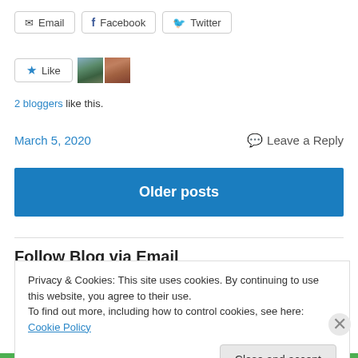[Figure (screenshot): Share buttons: Email, Facebook, Twitter]
[Figure (screenshot): Like button with star icon and two blogger avatars]
2 bloggers like this.
March 5, 2020    Leave a Reply
Older posts
Follow Blog via Email
Privacy & Cookies: This site uses cookies. By continuing to use this website, you agree to their use.
To find out more, including how to control cookies, see here: Cookie Policy
Close and accept